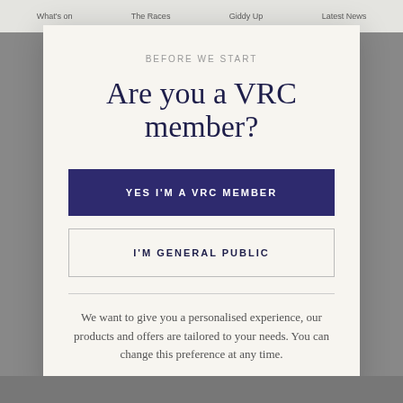What's on   The Races   Giddy Up   Latest News
BEFORE WE START
Are you a VRC member?
YES I'M A VRC MEMBER
I'M GENERAL PUBLIC
We want to give you a personalised experience, our products and offers are tailored to your needs. You can change this preference at any time.